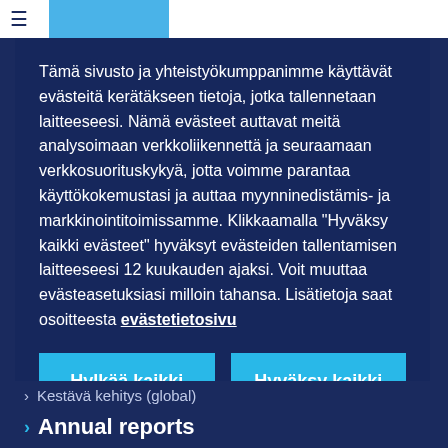Tämä sivusto ja yhteistyökumppanimme käyttävät evästeitä kerätäkseen tietoja, jotka tallennetaan laitteeseesi. Nämä evästeet auttavat meitä analysoimaan verkkoliikennettä ja seuraamaan verkkosuorituskykyä, jotta voimme parantaa käyttökokemustasi ja auttaa myynninedistämis- ja markkinointitoimissamme. Klikkaamalla "Hyväksy kaikki evästeet" hyväksyt evästeiden tallentamisen laitteeseesi 12 kuukauden ajaksi. Voit muuttaa evästeasetuksiasi milloin tahansa. Lisätietoja saat osoitteesta evästetietosivu
Hylkää kaikki
Hyväksy kaikki
Kestävä kehitys (global)
Annual reports